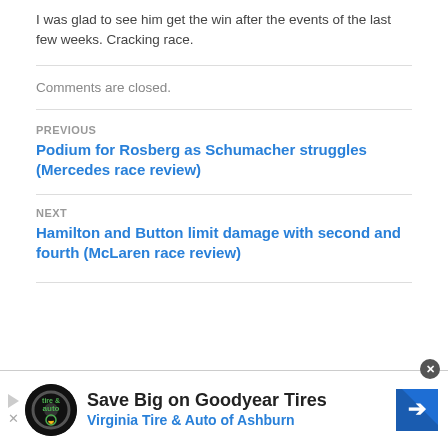I was glad to see him get the win after the events of the last few weeks. Cracking race.
Comments are closed.
PREVIOUS
Podium for Rosberg as Schumacher struggles (Mercedes race review)
NEXT
Hamilton and Button limit damage with second and fourth (McLaren race review)
[Figure (infographic): Advertisement banner: Save Big on Goodyear Tires – Virginia Tire & Auto of Ashburn, with tire & auto logo and navigation arrow icon]